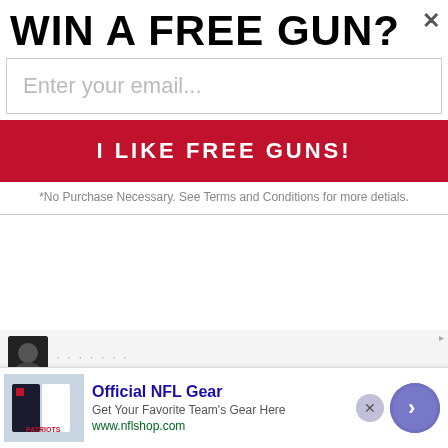WIN A FREE GUN?
Enter your email...
I LIKE FREE GUNS!
*No Purchase Necessary. See Terms and Conditions for more detials.
Dec 23, 2008
#8
Is your uncle one of the fortunate few in the PRMD who has been able to obtain a carry permit?
Why yes he is one of the lucky few, but he also recieves many death threats and was shot at in the 80's. I wish he could hav...
Official NFL Gear
Get Your Favorite Team's Gear Here
www.nflshop.com